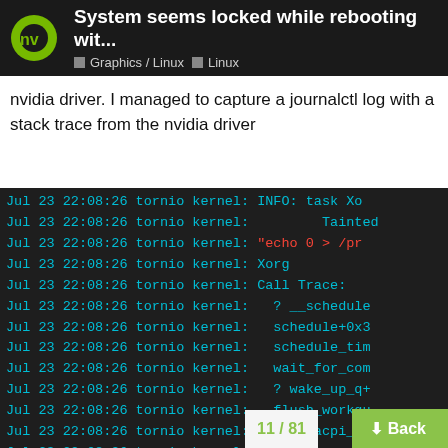System seems locked while rebooting wit... | Graphics / Linux | Linux
nvidia driver. I managed to capture a journalctl log with a stack trace from the nvidia driver
[Figure (screenshot): Terminal output showing kernel log lines from Jul 23 22:08:26 tornio kernel with various entries including INFO: task Xo, Tainted, echo 0 > /pr, Xorg, Call Trace:, ? __schedule, schedule+0x3, schedule_tim, wait_for_com, ? wake_up_q+, flush_workqu, ? nv_acpi_no, acpi_remove_, nv...mo, and more]
11 / 81